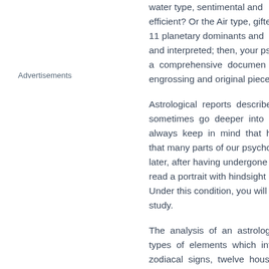Advertisements
water type, sentimental and efficient? Or the Air type, gifted... 11 planetary dominants and and interpreted; then, your ps... a comprehensive document... engrossing and original pieces
Astrological reports describe sometimes go deeper into t always keep in mind that hu that many parts of our psycho later, after having undergone read a portrait with hindsight i Under this condition, you will study.
The analysis of an astrolog types of elements which inte zodiacal signs, twelve hous planets (the 11 aspects most square, trine, sextile, quincun